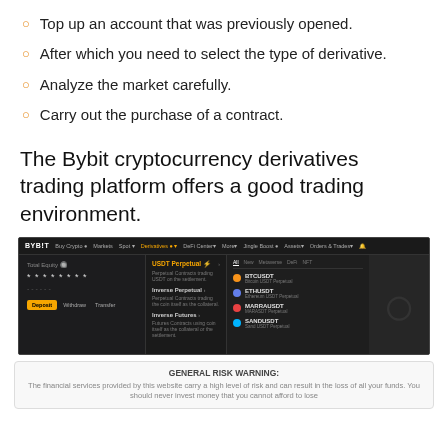Top up an account that was previously opened.
After which you need to select the type of derivative.
Analyze the market carefully.
Carry out the purchase of a contract.
The Bybit cryptocurrency derivatives trading platform offers a good trading environment.
[Figure (screenshot): Screenshot of the Bybit trading platform showing the derivatives trading interface with Total Equity panel, USDT Perpetual, Inverse Perpetual, Inverse Futures sections, and coin listings including BTCUSDT, ETHUSDT, MARRAUSDT, SANDUSDT.]
GENERAL RISK WARNING:
The financial services provided by this website carry a high level of risk and can result in the loss of all your funds. You should never invest money that you cannot afford to lose